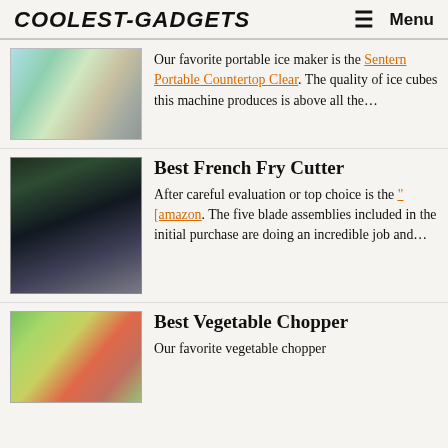COOLEST-GADGETS   Menu
[Figure (photo): Photo of a portable ice maker on a kitchen counter with colorful drinks]
Our favorite portable ice maker is the Sentern Portable Countertop Clear. The quality of ice cubes this machine produces is above all the...
[Figure (photo): Photo of a green french fry cutter with potato being cut, on a white surface]
Best French Fry Cutter
After careful evaluation or top choice is the "[amazon. The five blade assemblies included in the initial purchase are doing an incredible job and...
[Figure (photo): Photo of vegetables including green beans, carrots, and herbs with a green handheld chopper]
Best Vegetable Chopper
Our favorite vegetable chopper